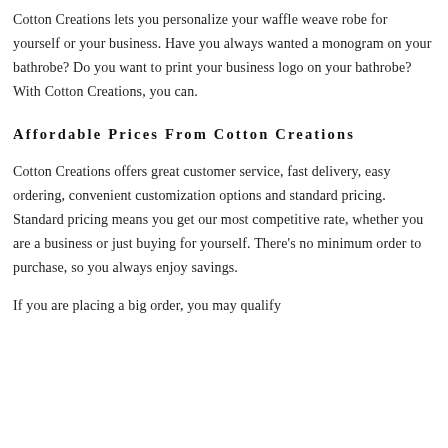Cotton Creations lets you personalize your waffle weave robe for yourself or your business. Have you always wanted a monogram on your bathrobe? Do you want to print your business logo on your bathrobe? With Cotton Creations, you can.
Affordable Prices From Cotton Creations
Cotton Creations offers great customer service, fast delivery, easy ordering, convenient customization options and standard pricing. Standard pricing means you get our most competitive rate, whether you are a business or just buying for yourself. There's no minimum order to purchase, so you always enjoy savings.
If you are placing a big order, you may qualify